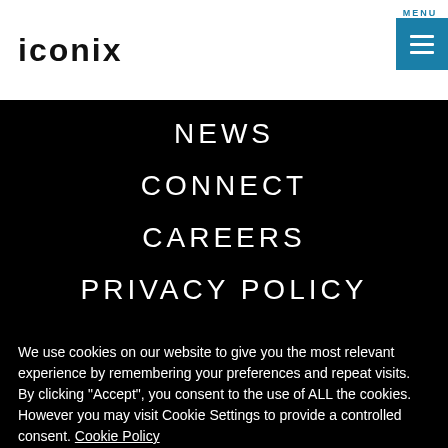[Figure (logo): Iconix brand logo in bold lowercase letters]
MENU
NEWS
CONNECT
CAREERS
PRIVACY POLICY
We use cookies on our website to give you the most relevant experience by remembering your preferences and repeat visits. By clicking "Accept", you consent to the use of ALL the cookies. However you may visit Cookie Settings to provide a controlled consent. Cookie Policy
Cookie settings
ACCEPT
REJECT